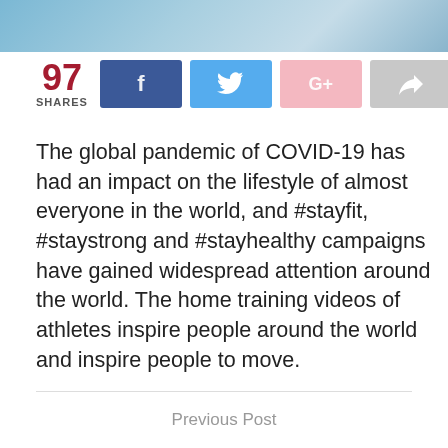[Figure (photo): Blue header image, likely a running track or sports surface]
97 SHARES
[Figure (infographic): Social share buttons: Facebook, Twitter, Google+, Forward/Share]
The global pandemic of COVID-19 has had an impact on the lifestyle of almost everyone in the world, and #stayfit, #staystrong and #stayhealthy campaigns have gained widespread attention around the world. The home training videos of athletes inspire people around the world and inspire people to move.
But in such a se... health is important, and ... eds care. The cancellation of competitions, the abrupt cessation
Continue Reading
Previous Post